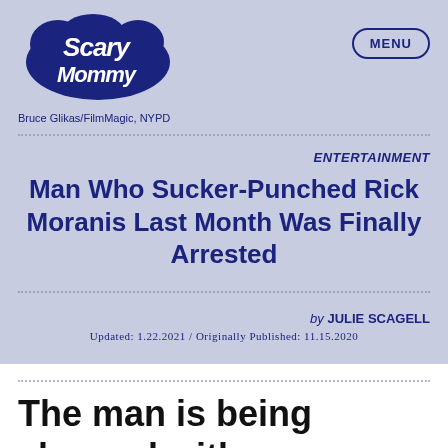[Figure (logo): Scary Mommy logo in dark navy blue with stylized cursive font on a lavender/periwinkle background]
MENU
Bruce Glikas/FilmMagic, NYPD
ENTERTAINMENT
Man Who Sucker-Punched Rick Moranis Last Month Was Finally Arrested
by JULIE SCAGELL
Updated: 1.22.2021 / Originally Published: 11.15.2020
The man is being charged with